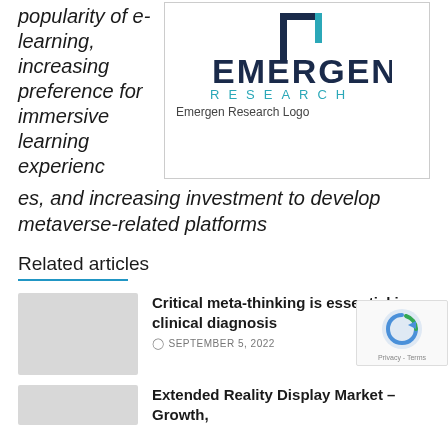popularity of e-learning, increasing preference for immersive learning experiences, and increasing investment to develop metaverse-related platforms
[Figure (logo): Emergen Research logo with dark navy square bracket icon above 'EMERGEN' in bold dark navy text and 'RESEARCH' in teal spaced letters below]
Emergen Research Logo
Related articles
Critical meta-thinking is essential in clinical diagnosis
SEPTEMBER 5, 2022
Extended Reality Display Market – Growth,